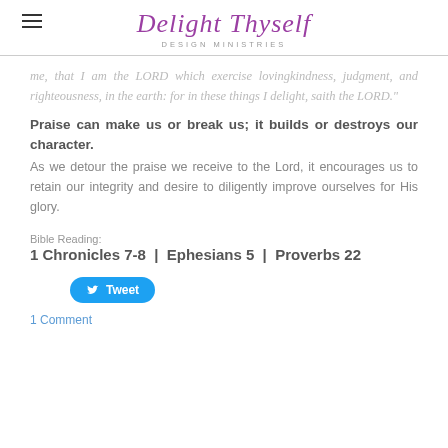Delight Thyself DESIGN MINISTRIES
me, that I am the LORD which exercise lovingkindness, judgment, and righteousness, in the earth: for in these things I delight, saith the LORD."
Praise can make us or break us; it builds or destroys our character. As we detour the praise we receive to the Lord, it encourages us to retain our integrity and desire to diligently improve ourselves for His glory.
Bible Reading:
1 Chronicles 7-8 | Ephesians 5 | Proverbs 22
Tweet
1 Comment